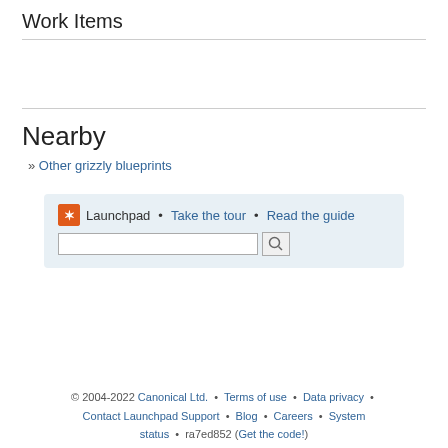Work Items
» Other grizzly blueprints
Nearby
» Other grizzly blueprints
[Figure (screenshot): Launchpad search bar with links: Take the tour, Read the guide, and a search input with magnifier button]
© 2004-2022 Canonical Ltd. • Terms of use • Data privacy • Contact Launchpad Support • Blog • Careers • System status • ra7ed852 (Get the code!)